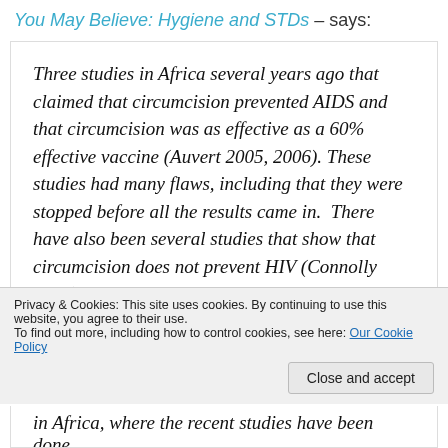You May Believe: Hygiene and STDs – says:
Three studies in Africa several years ago that claimed that circumcision prevented AIDS and that circumcision was as effective as a 60% effective vaccine (Auvert 2005, 2006). These studies had many flaws, including that they were stopped before all the results came in. There have also been several studies that show that circumcision does not prevent HIV (Connolly 2008). There are many issues at play in the spread in Africa, where the recent studies have been done,
Privacy & Cookies: This site uses cookies. By continuing to use this website, you agree to their use.
To find out more, including how to control cookies, see here: Our Cookie Policy
Close and accept